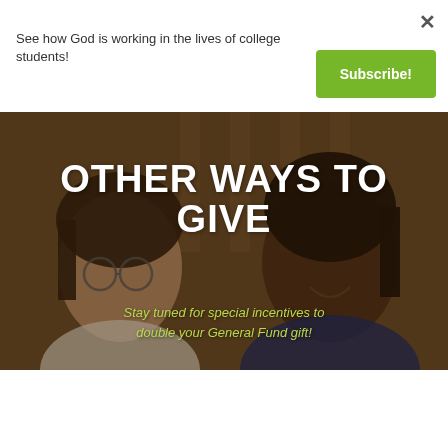See how God is working in the lives of college students!
×
Subscribe!
[Figure (photo): Two smiling college-age women in a warm library setting, used as a background image with text overlay]
OTHER WAYS TO GIVE
Stay tuned for special incentives to double your General Fund gift!